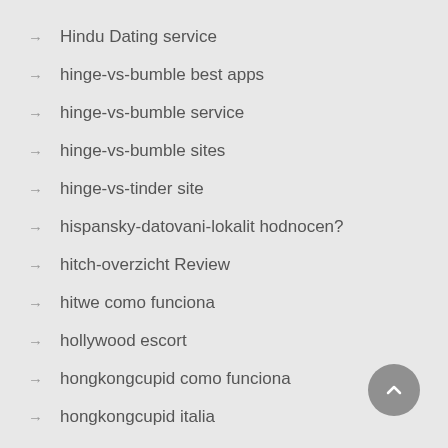Hindu Dating service
hinge-vs-bumble best apps
hinge-vs-bumble service
hinge-vs-bumble sites
hinge-vs-tinder site
hispansky-datovani-lokalit hodnocen?
hitch-overzicht Review
hitwe como funciona
hollywood escort
hongkongcupid como funciona
hongkongcupid italia
hongkongcupid review